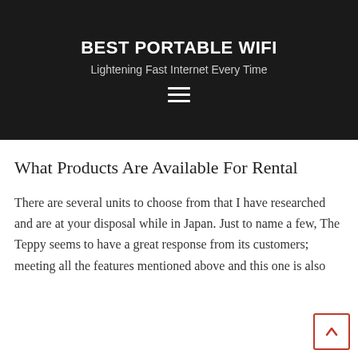BEST PORTABLE WIFI
Lightening Fast Internet Every Time
Nothing is hidden, everything is up front, fees or ru... ...all print (if any)... ...device. This article d... with Japan, but pocket wifi is available in up to 200 different countries.
What Products Are Available For Rental
There are several units to choose from that I have researched and are at your disposal while in Japan. Just to name a few, The Teppy seems to have a great response from its customers; meeting all the features mentioned above and this one is also